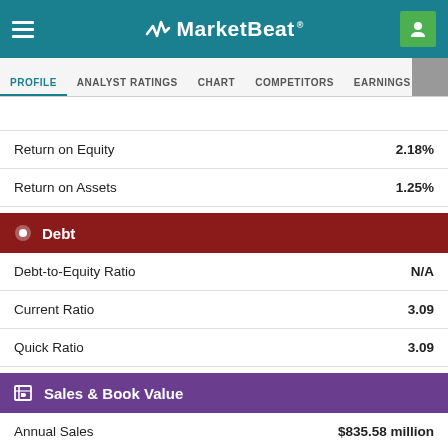MarketBeat
PROFILE | ANALYST RATINGS | CHART | COMPETITORS | EARNINGS | FINANCIALS
| Metric | Value |
| --- | --- |
| Return on Equity | 2.18% |
| Return on Assets | 1.25% |
Debt
| Metric | Value |
| --- | --- |
| Debt-to-Equity Ratio | N/A |
| Current Ratio | 3.09 |
| Quick Ratio | 3.09 |
Sales & Book Value
| Metric | Value |
| --- | --- |
| Annual Sales | $835.58 million |
| Price / Sales | 0.79 |
| Cash Flow | $2.65 per share |
| Price / Cash Flow | 6.48 |